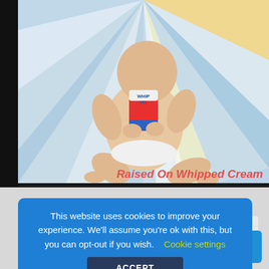[Figure (photo): A baby sitting on a colorful sunburst patterned background (blue, white, yellow rays) holding a red and white whipped cream can labeled 'WHIP IT!'. Text at bottom right reads 'Raised On Whipped Cream' in red italic bold font.]
ER
This website uses cookies to improve your experience. We'll assume you're ok with this, but you can opt-out if you wish.   Cookie settings
ACCEPT